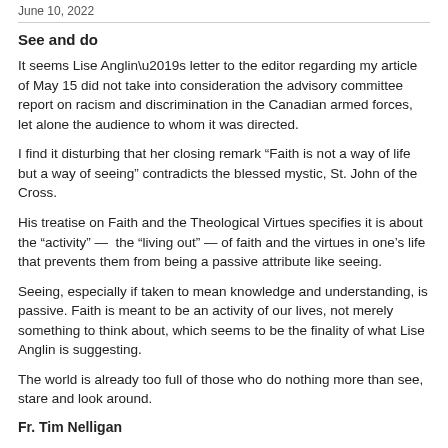June 10, 2022
See and do
It seems Lise Anglin’s letter to the editor regarding my article of May 15 did not take into consideration the advisory committee report on racism and discrimination in the Canadian armed forces, let alone the audience to whom it was directed.
I find it disturbing that her closing remark “Faith is not a way of life but a way of seeing” contradicts the blessed mystic, St. John of the Cross.
His treatise on Faith and the Theological Virtues specifies it is about the “activity” — the “living out” — of faith and the virtues in one’s life that prevents them from being a passive attribute like seeing.
Seeing, especially if taken to mean knowledge and understanding, is passive. Faith is meant to be an activity of our lives, not merely something to think about, which seems to be the finality of what Lise Anglin is suggesting.
The world is already too full of those who do nothing more than see, stare and look around.
Fr. Tim Nelligan